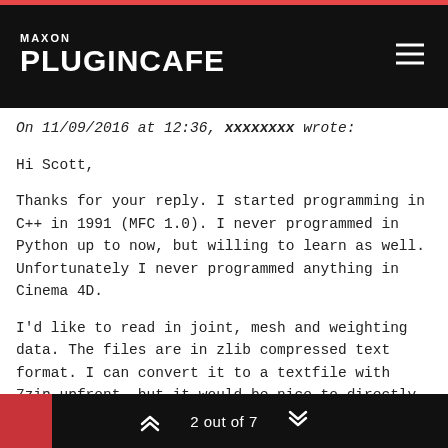MAXON PLUGINCAFE
On 11/09/2016 at 12:36, xxxxxxxx wrote:
Hi Scott,
Thanks for your reply. I started programming in C++ in 1991 (MFC 1.0). I never programmed in Python up to now, but willing to learn as well. Unfortunately I never programmed anything in Cinema 4D.
I'd like to read in joint, mesh and weighting data. The files are in zlib compressed text format. I can convert it to a textfile with 7zip upfront, but it would be nice to directly read it. As all information is distributed over several file, the user would load one file after the other and get the data in one by one. I may need xPresso tags later on to get joint controlled point morphs to the figure.
2 out of 7